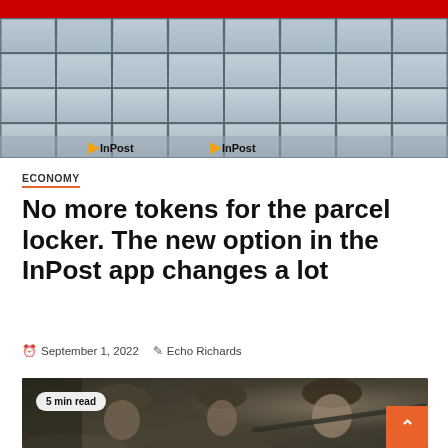[Figure (photo): InPost parcel locker station with red brand bar at top and yellow InPost logos visible. Grid of metal locker doors in grey.]
ECONOMY
No more tokens for the parcel locker. The new option in the InPost app changes a lot
September 1, 2022   Echo Richards
[Figure (photo): War scene showing soldiers in WWI/WWII-style helmets in a trench, one holding a rifle, with a '5 min read' badge overlaid in the top-left corner.]